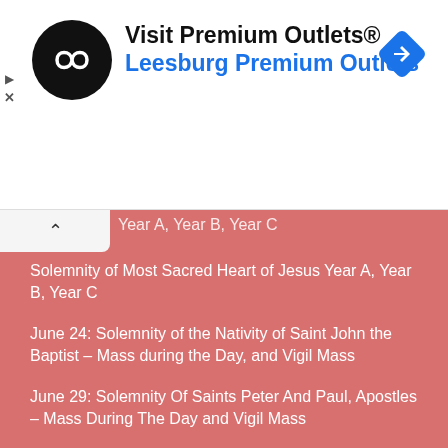[Figure (logo): Visit Premium Outlets advertisement banner with circular black logo with white infinity-like icon, text 'Visit Premium Outlets®' and 'Leesburg Premium Outlets' in blue, and a blue diamond navigation icon on the right.]
Year A, Year B, Year C
Solemnity of Most Sacred Heart of Jesus Year A, Year B, Year C
June 24: Solemnity of the Nativity of Saint John the Baptist – Mass during the Day, and Vigil Mass
June 29: Solemnity Of Saints Peter And Paul, Apostles – Mass During The Day and Vigil Mass
July 3: Feast of St. Thomas, Apostle
July 22: Feast of Saint Mary Magdalene
July 25: Feast of Saint James, Apostle
July 29: Memorial of Saint Martha